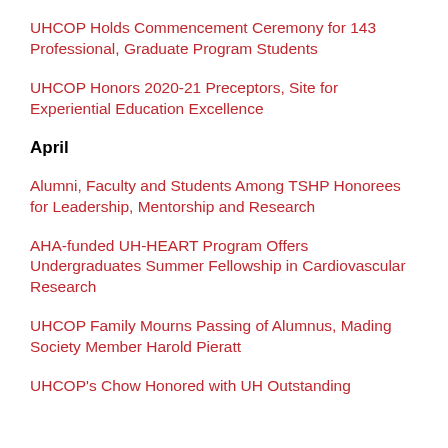UHCOP Holds Commencement Ceremony for 143 Professional, Graduate Program Students
UHCOP Honors 2020-21 Preceptors, Site for Experiential Education Excellence
April
Alumni, Faculty and Students Among TSHP Honorees for Leadership, Mentorship and Research
AHA-funded UH-HEART Program Offers Undergraduates Summer Fellowship in Cardiovascular Research
UHCOP Family Mourns Passing of Alumnus, Mading Society Member Harold Pieratt
UHCOP's Chow Honored with UH Outstanding